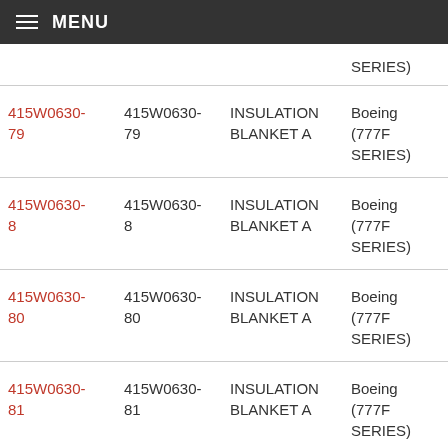MENU
| Part Number | Part Number | Description | Aircraft | Action |
| --- | --- | --- | --- | --- |
| (partial top) |  |  | SERIES) |  |
| 415W0630-79 | 415W0630-79 | INSULATION BLANKET A | Boeing (777F SERIES) | Request For P |
| 415W0630-8 | 415W0630-8 | INSULATION BLANKET A | Boeing (777F SERIES) | Request For P |
| 415W0630-80 | 415W0630-80 | INSULATION BLANKET A | Boeing (777F SERIES) | Request For P |
| 415W0630-81 | 415W0630-81 | INSULATION BLANKET A | Boeing (777F SERIES) | Request For P |